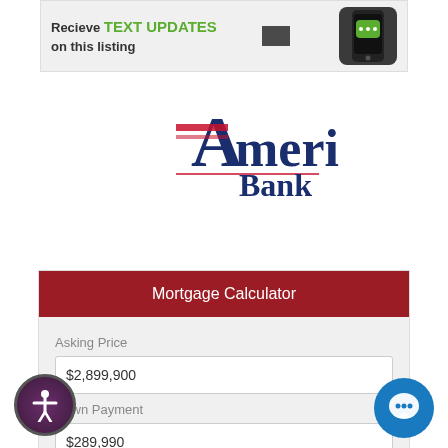[Figure (screenshot): Banner ad: 'Recieve TEXT UPDATES on this listing' with a phone icon showing a chat bubble]
[Figure (logo): Ameris Bank Mortgage Services logo]
Mortgage Calculator
Asking Price
$2,899,900
Down Payment
$289,990
Term